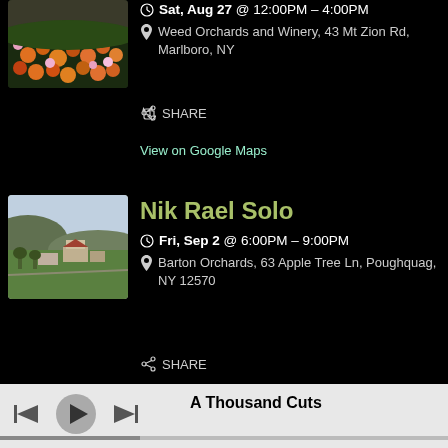[Figure (photo): Colorful flower field with orange and pink flowers]
Sat, Aug 27 @ 12:00PM – 4:00PM
Weed Orchards and Winery, 43 Mt Zion Rd, Marlboro, NY
SHARE
View on Google Maps
[Figure (photo): Aerial view of orchard farm with green fields and farm buildings]
Nik Rael Solo
Fri, Sep 2 @ 6:00PM – 9:00PM
Barton Orchards, 63 Apple Tree Ln, Poughquag, NY 12570
SHARE
View on Google Maps
A Thousand Cuts